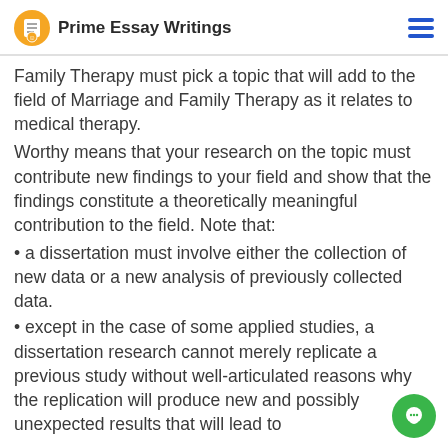Prime Essay Writings
Family Therapy must pick a topic that will add to the field of Marriage and Family Therapy as it relates to medical therapy.
Worthy means that your research on the topic must contribute new findings to your field and show that the findings constitute a theoretically meaningful contribution to the field. Note that:
• a dissertation must involve either the collection of new data or a new analysis of previously collected data.
• except in the case of some applied studies, a dissertation research cannot merely replicate a previous study without well-articulated reasons why the replication will produce new and possibly unexpected results that will lead to